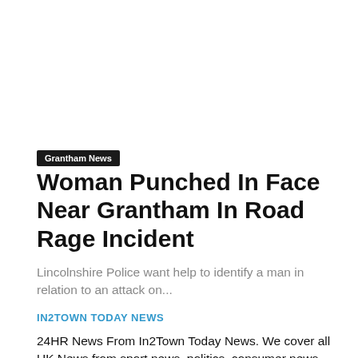Grantham News
Woman Punched In Face Near Grantham In Road Rage Incident
Lincolnshire Police want help to identify a man in relation to an attack on...
IN2TOWN TODAY NEWS
24HR News From In2Town Today News. We cover all UK News from sport news, politics, consumer news, travel